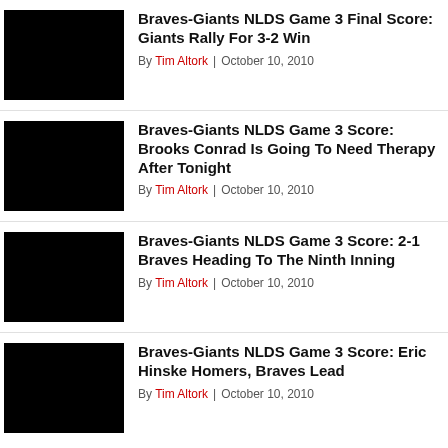[Figure (photo): Black thumbnail image for article 1]
Braves-Giants NLDS Game 3 Final Score: Giants Rally For 3-2 Win
By Tim Altork | October 10, 2010
[Figure (photo): Black thumbnail image for article 2]
Braves-Giants NLDS Game 3 Score: Brooks Conrad Is Going To Need Therapy After Tonight
By Tim Altork | October 10, 2010
[Figure (photo): Black thumbnail image for article 3]
Braves-Giants NLDS Game 3 Score: 2-1 Braves Heading To The Ninth Inning
By Tim Altork | October 10, 2010
[Figure (photo): Black thumbnail image for article 4]
Braves-Giants NLDS Game 3 Score: Eric Hinske Homers, Braves Lead
By Tim Altork | October 10, 2010